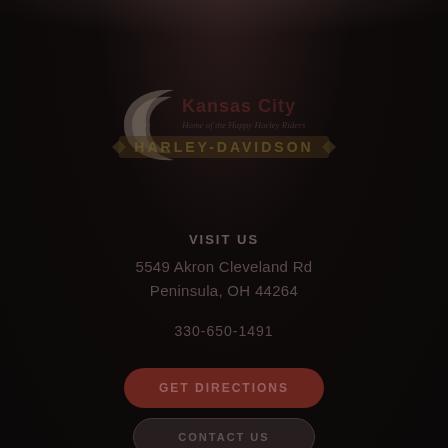[Figure (logo): Kansas City Harley-Davidson logo with crescent swoosh graphic and banner text on dark background]
VISIT US
5549 Akron Cleveland Rd
Peninsula, OH 44264
330-650-1491
GET DIRECTIONS
CONTACT US